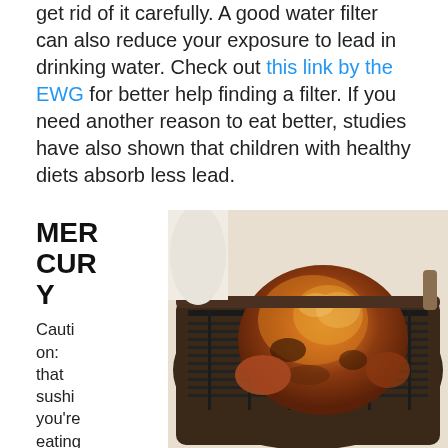get rid of it carefully. A good water filter can also reduce your exposure to lead in drinking water. Check out this link by the EWG for better help finding a filter. If you need another reason to eat better, studies have also shown that children with healthy diets absorb less lead.
MERCURY
Caution: that sushi you're eating could be hazardous
[Figure (photo): A roasted whole chicken in a dark roasting pan on a wire rack, photographed from above at an angle.]